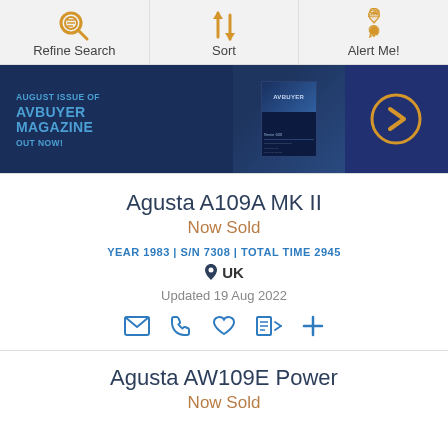Refine Search | Sort | Alert Me!
[Figure (screenshot): AvBuyer Magazine August issue promotional banner on dark navy background with text and magazine cover image]
Agusta A109A MK II
Now Sold
YEAR 1983 | S/N 7308 | TOTAL TIME 2945
UK
Updated 19 Aug 2022
Agusta AW109E Power
Now Sold